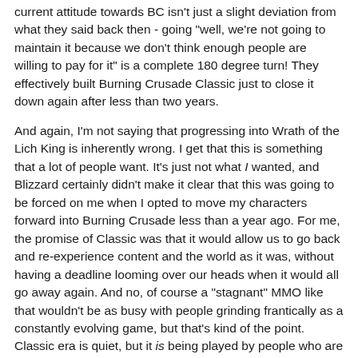current attitude towards BC isn't just a slight deviation from what they said back then - going "well, we're not going to maintain it because we don't think enough people are willing to pay for it" is a complete 180 degree turn! They effectively built Burning Crusade Classic just to close it down again after less than two years.
And again, I'm not saying that progressing into Wrath of the Lich King is inherently wrong. I get that this is something that a lot of people want. It's just not what I wanted, and Blizzard certainly didn't make it clear that this was going to be forced on me when I opted to move my characters forward into Burning Crusade less than a year ago. For me, the promise of Classic was that it would allow us to go back and re-experience content and the world as it was, without having a deadline looming over our heads when it would all go away again. And no, of course a "stagnant" MMO like that wouldn't be as busy with people grinding frantically as a constantly evolving game, but that's kind of the point. Classic era is quiet, but it is being played by people who are enjoying themselves and re-running the old raids just for fun. All I wanted was the same opportunity for BC.